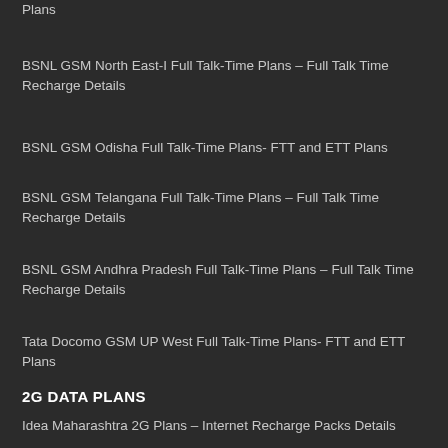Plans
BSNL GSM North East-I Full Talk-Time Plans – Full Talk Time Recharge Details
BSNL GSM Odisha Full Talk-Time Plans- FTT and ETT Plans
BSNL GSM Telangana Full Talk-Time Plans – Full Talk Time Recharge Details
BSNL GSM Andhra Pradesh Full Talk-Time Plans – Full Talk Time Recharge Details
Tata Docomo GSM UP West Full Talk-Time Plans- FTT and ETT Plans
2G DATA PLANS
Idea Maharashtra 2G Plans – Internet Recharge Packs Details